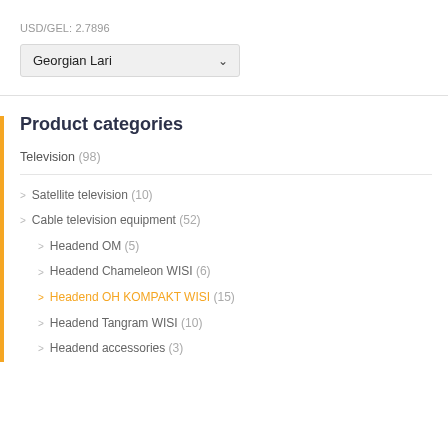USD/GEL: 2.7896
Georgian Lari
Product categories
Television (98)
> Satellite television (10)
> Cable television equipment (52)
> Headend OM (5)
> Headend Chameleon WISI (6)
> Headend OH KOMPAKT WISI (15)
> Headend Tangram WISI (10)
> Headend accessories (3)